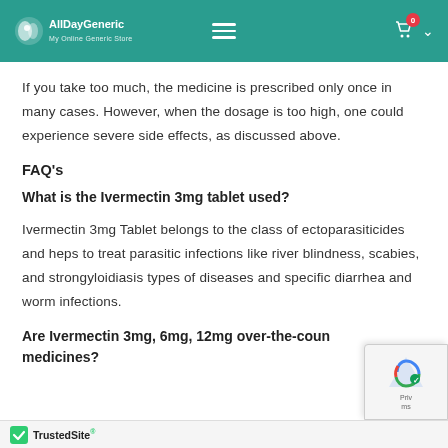AllDayGeneric - My Online Generic Store
If you take too much, the medicine is prescribed only once in many cases. However, when the dosage is too high, one could experience severe side effects, as discussed above.
FAQ's
What is the Ivermectin 3mg tablet used?
Ivermectin 3mg Tablet belongs to the class of ectoparasiticides and heps to treat parasitic infections like river blindness, scabies, and strongyloidiasis types of diseases and specific diarrhea and worm infections.
Are Ivermectin 3mg, 6mg, 12mg over-the-counter medicines?